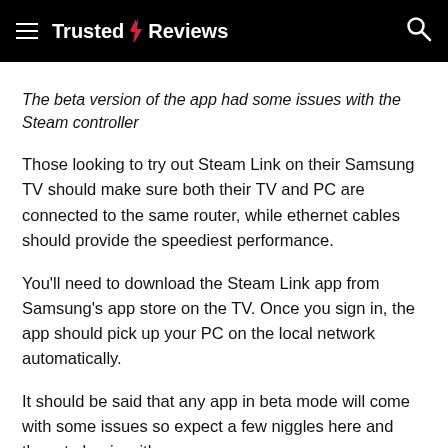Trusted Reviews
The beta version of the app had some issues with the Steam controller
Those looking to try out Steam Link on their Samsung TV should make sure both their TV and PC are connected to the same router, while ethernet cables should provide the speediest performance.
You'll need to download the Steam Link app from Samsung's app store on the TV. Once you sign in, the app should pick up your PC on the local network automatically.
It should be said that any app in beta mode will come with some issues so expect a few niggles here and there to begin with.
Future versions of the app will be more stable, and will hopefully add support for Xbox and PlayStation controllers,